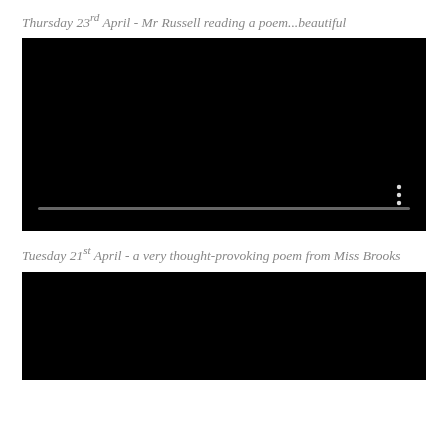Thursday 23rd April - Mr Russell reading a poem...beautiful
[Figure (screenshot): Black video player thumbnail with a grey progress bar near the bottom and three white dots (menu icon) in the lower right corner]
Tuesday 21st April - a very thought-provoking poem from Miss Brooks
[Figure (screenshot): Black video player thumbnail, partially visible at the bottom of the page]